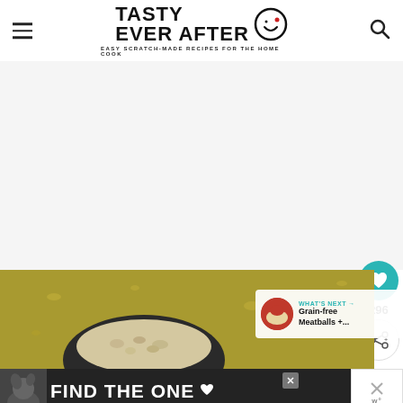TASTY EVER AFTER — EASY SCRATCH-MADE RECIPES FOR THE HOME COOK
[Figure (photo): Food photo showing a bowl with grain/bean mixture in a golden broth, seen close-up from above]
WHAT'S NEXT → Grain-free Meatballs +...
[Figure (infographic): Advertisement banner with a dog and text FIND THE ONE with a heart icon]